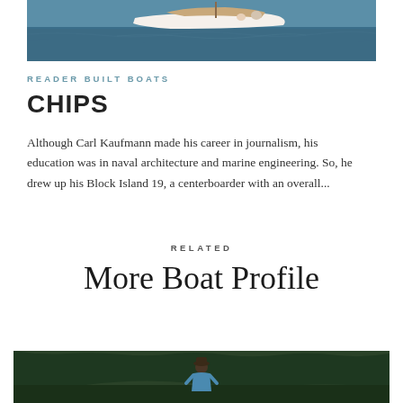[Figure (photo): Photo of a white wooden sailboat on blue water with people aboard]
READER BUILT BOATS
CHIPS
Although Carl Kaufmann made his career in journalism, his education was in naval architecture and marine engineering. So, he drew up his Block Island 19, a centerboarder with an overall...
RELATED
More Boat Profile
[Figure (photo): Photo of a person outdoors near water with green trees in background]